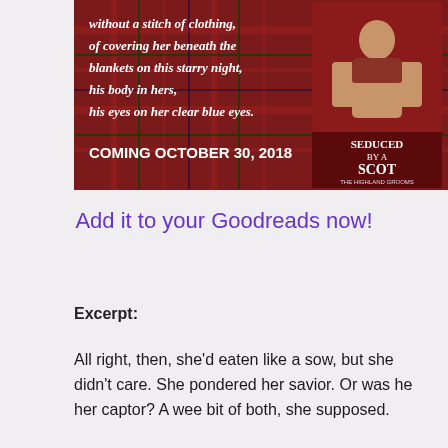[Figure (illustration): Book promotional banner with dark red tartan plaid background. White bold italic text reads: 'without a stitch of clothing, of covering her beneath the blankets on this starry night, his body in hers, his eyes on her clear blue eyes.' Below in bold white: 'COMING OCTOBER 30, 2018'. On the right side is a book cover showing a shirtless man with the title 'SEDUCED BY A SCOT' and subtitle 'THE HIGHLAND GROOMS'.]
Add it to your Goodreads now!
Excerpt:
All right, then, she’d eaten like a sow, but she didn’t care. She pondered her savior. Or was he her captor? A wee bit of both, she supposed.